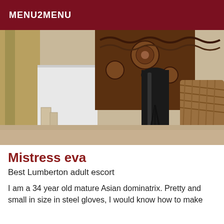MENU2MENU
[Figure (photo): Interior room photo showing ornate carved wooden furniture, black leather knee-high boots, a whip or flogger on a tan/beige carpet floor, curtains, and wicker-style decorative items.]
Mistress eva
Best Lumberton adult escort
I am a 34 year old mature Asian dominatrix. Pretty and small in size in steel gloves, I would know how to make